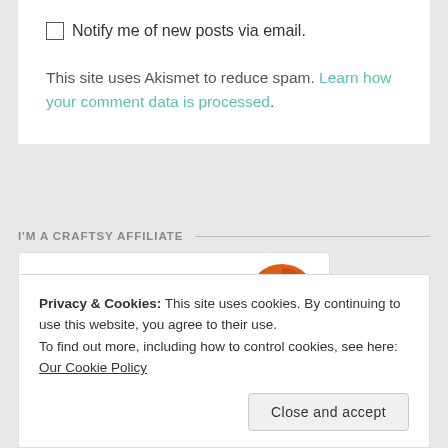Notify me of new posts via email.
This site uses Akismet to reduce spam. Learn how your comment data is processed.
I'M A CRAFTSY AFFILIATE
[Figure (logo): Craftsy affiliate banner showing FREE text in gold serif font and Craftsy orange circular logo badge]
Privacy & Cookies: This site uses cookies. By continuing to use this website, you agree to their use.
To find out more, including how to control cookies, see here: Our Cookie Policy
Close and accept